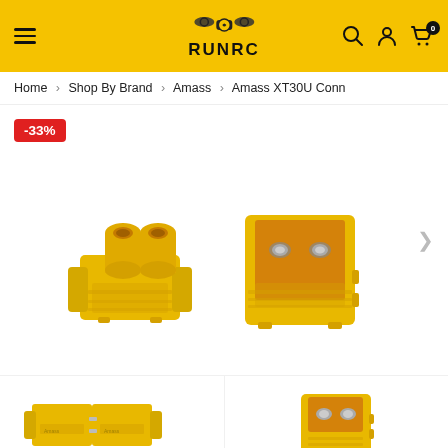RUNRC
Home > Shop By Brand > Amass > Amass XT30U Conn
[Figure (photo): Product photo of Amass XT30U connectors - yellow plastic electrical connectors, showing female (left) and male (right) versions. A red discount badge shows -33%.]
[Figure (photo): Thumbnail images of XT30U connectors - left thumbnail shows male connector side view with two silver pin contacts, right thumbnail shows female connector angled view in yellow plastic.]